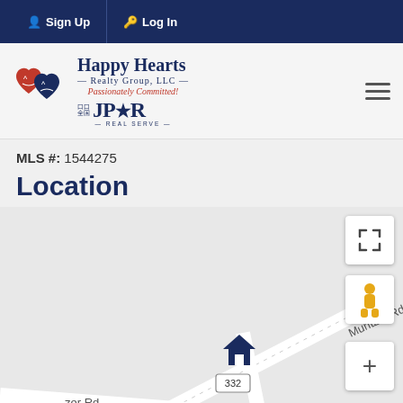Sign Up  Log In
[Figure (logo): Happy Hearts Realty Group LLC logo with two heart characters, JPAR branding, and tagline 'Passionately Committed!']
MLS #: 1544275
Location
[Figure (map): Street map showing location marker (house icon) at intersection of Muntzer Rd and another road, with road number 332 labeled. Map controls include fullscreen button, street view person icon, and zoom plus button.]